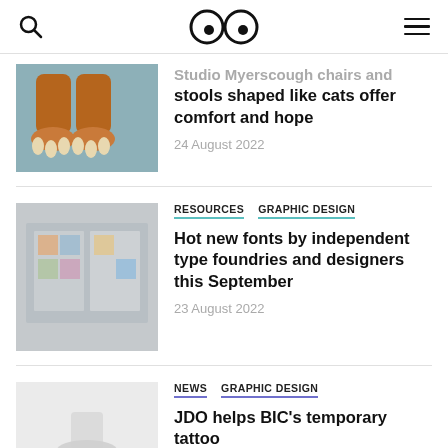Dezeen (logo with eyes icon, search and menu icons)
[Figure (photo): Orange/brown cat-shaped stool or chair legs, knitted or ceramic, positioned like cat paws on a grey floor]
stools shaped like cats offer comfort and hope
24 August 2022
[Figure (photo): Blurred image of what appears to be a shop front with colorful display in the window]
RESOURCES   GRAPHIC DESIGN
Hot new fonts by independent type foundries and designers this September
23 August 2022
[Figure (photo): Partially visible light gray background with a small object, article about JDO helps BIC's temporary tattoo]
NEWS   GRAPHIC DESIGN
JDO helps BIC's temporary tattoo